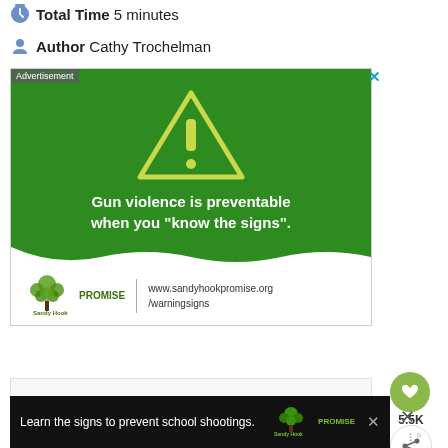Total Time 5 minutes
Author Cathy Trochelman
[Figure (infographic): Sandy Hook Promise advertisement banner. Green background with yellow warning triangle (exclamation mark). Text: 'Gun violence is preventable when you "know the signs".' Bottom white section: Sandy Hook Promise logo and URL www.sandyhookpromise.org/warningsigns. Label 'Advertisement' top-left. Blue X close button top-right.]
[Figure (infographic): Sandy Hook Promise bottom advertisement banner on black background. Text: 'Learn the signs to prevent school shootings.' Sandy Hook Promise logo on right. Close X button.]